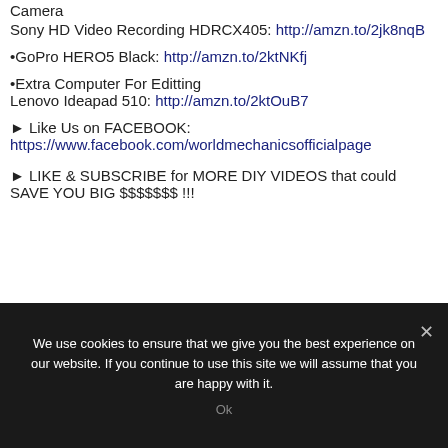Camera
Sony HD Video Recording HDRCX405: http://amzn.to/2jk8nqB
•GoPro HERO5 Black: http://amzn.to/2ktNKfj
•Extra Computer For Editting
Lenovo Ideapad 510: http://amzn.to/2ktOuB7
► Like Us on FACEBOOK:
https://www.facebook.com/worldmechanicsofficialpage
► LIKE & SUBSCRIBE for MORE DIY VIDEOS that could SAVE YOU BIG $$$$$$$ !!!
We use cookies to ensure that we give you the best experience on our website. If you continue to use this site we will assume that you are happy with it.
Ok